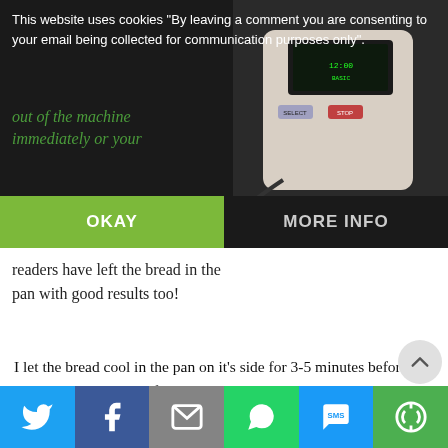This website uses cookies "By leaving a comment you are consenting to your email being collected for communication purposes only".
out of the machine immediately or your
[Figure (screenshot): Photo of a bread machine control panel with display screen, SELECT and STOP buttons on a white/cream device body]
OKAY
MORE INFO
readers have left the bread in the pan with good results too!
I let the bread cool in the pan on it's side for 3-5 minutes before shaking/tapping it out from the pan.  I then cool completely on a rack before I cut into it and to keep it fresh longer, I store in a large Tupperware container with a paper towel liner to absorb the moisture, in the fridge.
[Figure (infographic): Social share bar with Twitter, Facebook, Email, WhatsApp, SMS, and More buttons]